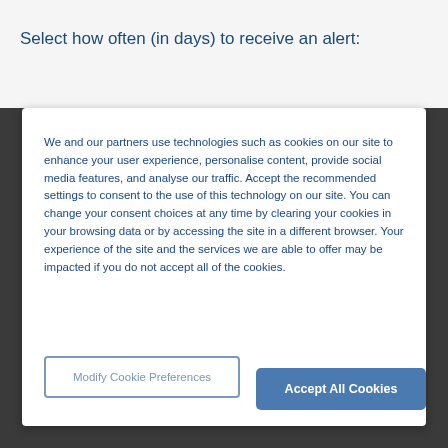Select how often (in days) to receive an alert:
We and our partners use technologies such as cookies on our site to enhance your user experience, personalise content, provide social media features, and analyse our traffic. Accept the recommended settings to consent to the use of this technology on our site. You can change your consent choices at any time by clearing your cookies in your browsing data or by accessing the site in a different browser. Your experience of the site and the services we are able to offer may be impacted if you do not accept all of the cookies.
Modify Cookie Preferences
Accept All Cookies